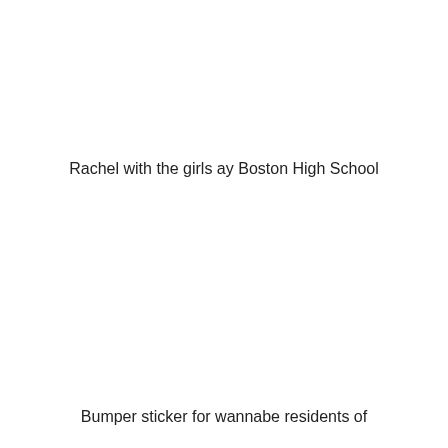Rachel with the girls ay Boston High School
Bumper sticker for wannabe residents of